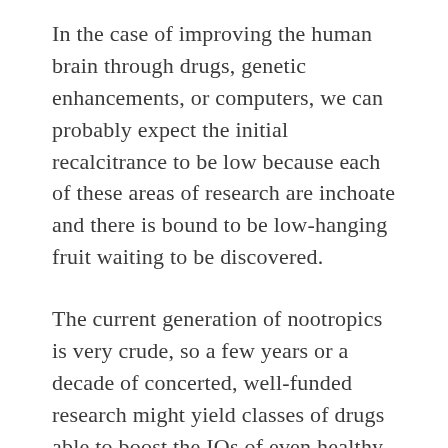In the case of improving the human brain through drugs, genetic enhancements, or computers, we can probably expect the initial recalcitrance to be low because each of these areas of research are inchoate and there is bound to be low-hanging fruit waiting to be discovered.
The current generation of nootropics is very crude, so a few years or a decade of concerted, well-funded research might yield classes of drugs able to boost the IQs of even healthy individuals 20 or 30 points.